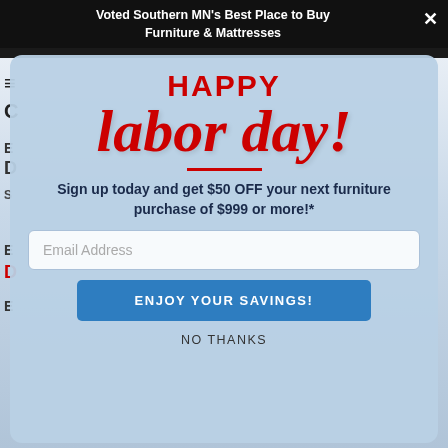Voted Southern MN's Best Place to Buy Furniture & Mattresses
[Figure (screenshot): Labor Day promotional popup modal overlay on a furniture store website. The modal has a light blue background with 'HAPPY' in bold red uppercase, 'labor day!' in large red italic script font, a red divider line, offer text reading 'Sign up today and get $50 OFF your next furniture purchase of $999 or more!*', an email address input field, a blue 'ENJOY YOUR SAVINGS!' button, and a 'NO THANKS' link at the bottom.]
HAPPY
labor day!
Sign up today and get $50 OFF your next furniture purchase of $999 or more!*
Email Address
ENJOY YOUR SAVINGS!
NO THANKS